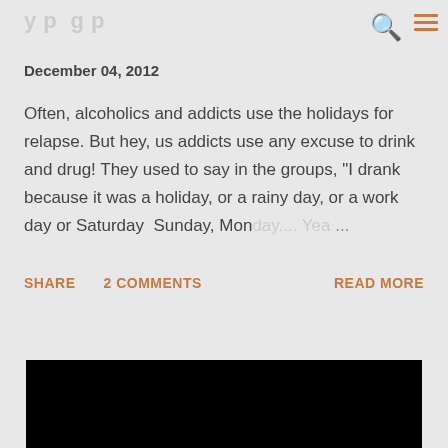y p g p
December 04, 2012
Often, alcoholics and addicts use the holidays for relapse. But hey, us addicts use any excuse to drink and drug! They used to say in the groups, "I drank because it was a holiday, or a rainy day, or a work day or Saturday  Sunday, Monday.... Yea ...
SHARE   2 COMMENTS   READ MORE
[Figure (photo): Black image area at bottom of page]